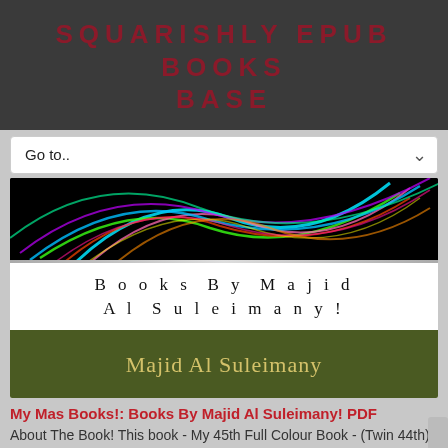SQUARISHLY EPUB BOOKS BASE
Go to..
[Figure (illustration): Book cover image for 'Books By Majid Al Suleimany' showing neon light art on black background at top, white band with spaced serif text 'Books By Majid Al Suleimany!', and dark olive green band with gold text 'Majid Al Suleimany']
My Mas Books!: Books By Majid Al Suleimany! PDF
About The Book! This book - My 45th Full Colour Book - (Twin 44th) is The Sequel to my earlier books...